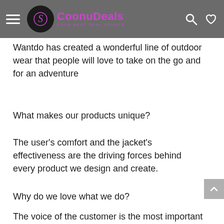CoonuDeals — YOUR BEST DEAL SOURCE
Wantdo has created a wonderful line of outdoor wear that people will love to take on the go and for an adventure
What makes our products unique?
The user's comfort and the jacket's effectiveness are the driving forces behind every product we design and create.
Why do we love what we do?
The voice of the customer is the most important thing for Wantdo. We pay attention to the voice of